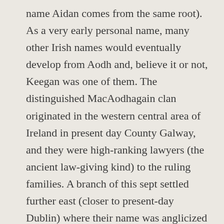name Aidan comes from the same root). As a very early personal name, many other Irish names would eventually develop from Aodh and, believe it or not, Keegan was one of them. The distinguished MacAodhagain clan originated in the western central area of Ireland in present day County Galway, and they were high-ranking lawyers (the ancient law-giving kind) to the ruling families. A branch of this sept settled further east (closer to present-day Dublin) where their name was anglicized to Egan and then eventually to Keegan. As a given name, Keegan was adopted by the United States in the latter half of the 20th century. Keagan eventually sprung up on the American naming charts as an altered spelling of Keegan.